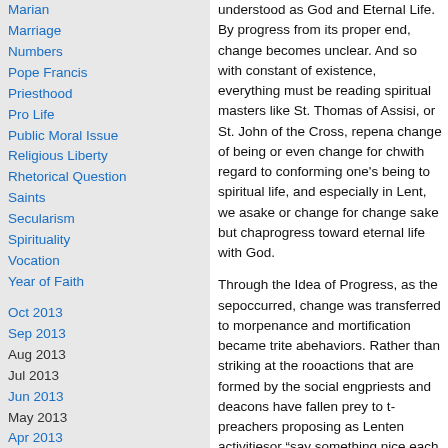Marian
Marriage
Numbers
Pope Francis
Priesthood
Pro Life
Public Moral Issue
Religious Liberty
Rhetorical Question
Saints
Secularism
Spirituality
Vocation
Year of Faith
Oct 2013
Sep 2013
Aug 2013
Jul 2013
Jun 2013
May 2013
Apr 2013
Mar 2013
Feb 2013
Jan 2013
Dec 2012
Nov 2012
Oct 2012
Sep 2012
Aug 2012
Jul 2012
Jun 2012
May 2012
understood as God and Eternal Life. By progress from its proper end, change becomes unclear. And so with change as a constant of existence, everything must be reading spiritual masters like St. Thomas of Assisi, or St. John of the Cross, repentance a change of being or even change for change with regard to conforming one's being to spiritual life, and especially in Lent, we sake or change for change sake but change progress toward eternal life with God.
Through the Idea of Progress, as the separation occurred, change was transferred to morality, penance and mortification became trite and behaviors. Rather than striking at the root of actions that are formed by the social engagement priests and deacons have fallen prey to this preachers proposing as Lenten activities or "say something nice each day to your neighbor" by giving up sweets." These fall into the mistake the central claim is that the "good can be changed" a fixed reality established by God. We must change ourselves in an attempt to be "better" conformed to the Good, which is God. Everything we do must be ordered to conforming our beings to this perspectives.
Only by breaking from the errors of the modern what the word "repent" means. We cannot repent sins committed until we fully understand truly begin to change or progress in the